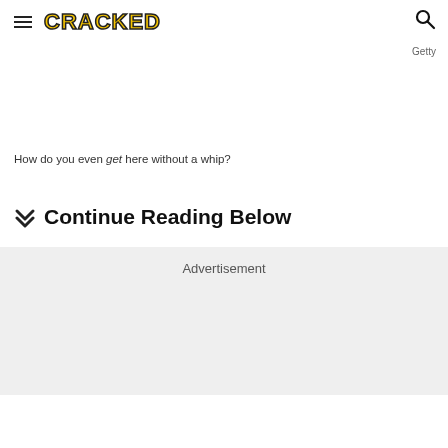CRACKED
Getty
How do you even get here without a whip?
Continue Reading Below
Advertisement